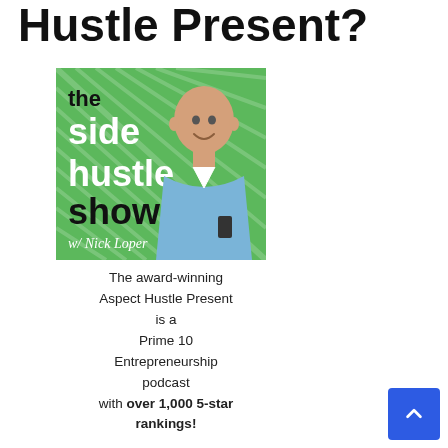Hustle Present?
[Figure (illustration): The Side Hustle Show podcast cover art featuring a bald man in a blue shirt smiling, green background, with text 'the side hustle show w/ Nick Loper']
The award-winning Aspect Hustle Present is a Prime 10 Entrepreneurship podcast with over 1,000 5-star rankings!